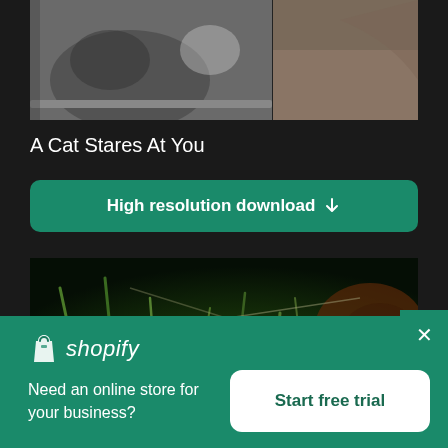[Figure (photo): Close-up photo of a cat near a sink or metallic surface, dark tones]
A Cat Stares At You
High resolution download ↓
[Figure (photo): Close-up of green grass blades with water droplets, dark background, with crossed wire/stem details]
[Figure (logo): Shopify logo with shopping bag icon and italic shopify text]
Need an online store for your business?
Start free trial